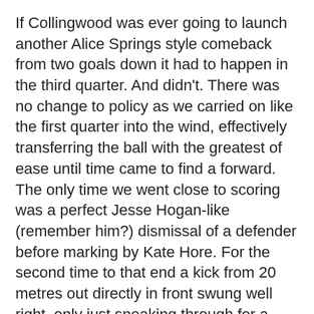If Collingwood was ever going to launch another Alice Springs style comeback from two goals down it had to happen in the third quarter. And didn't. There was no change to policy as we carried on like the first quarter into the wind, effectively transferring the ball with the greatest of ease until time came to find a forward. The only time we went close to scoring was a perfect Jesse Hogan-like (remember him?) dismissal of a defender before marking by Kate Hore. For the second time to that end a kick from 20 metres out directly in front swung well right, only just sneaking through for a point. With the Pies scoreless for the second straight quarter it was a great opportunity for guys who were definitely never going to watch AFLW again to put a foot through their TV.
With a 15 point buffer at the last break and the wind it was going to take a tremendous cock-up to lose, but if anybody is capable of snatching defeat from the jaws of victory it's us. Fortunately not, they got their token goal late but we'd already finished it off via Hanks.
It was as comprehensive a victory as you'd want everywhere but the scoreboard, plenty more disposals, a 31-12 inside 50